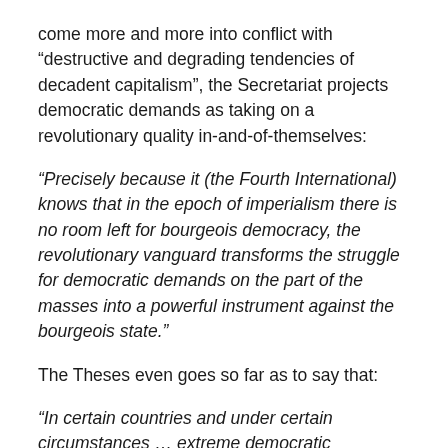come more and more into conflict with “destructive and degrading tendencies of decadent capitalism”, the Secretariat projects democratic demands as taking on a revolutionary quality in-and-of-themselves:
“Precisely because it (the Fourth International) knows that in the epoch of imperialism there is no room left for bourgeois democracy, the revolutionary vanguard transforms the struggle for democratic demands on the part of the masses into a powerful instrument against the bourgeois state.”
The Theses even goes so far as to say that:
“In certain countries and under certain circumstances … extreme democratic demands, such as the demand for immediate elections or for the convocation of a constituent